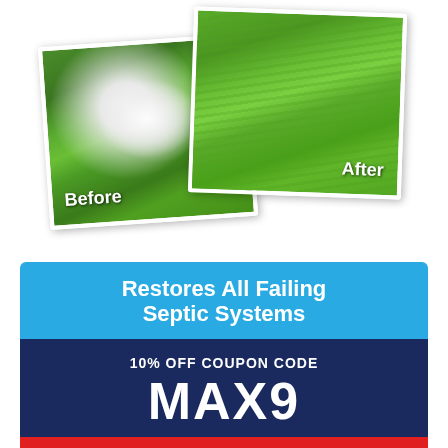[Figure (photo): Before and after comparison photos of grass/lawn near a septic system. Left photo (slightly rotated, labeled 'Before') shows grass with white patches/pooling water. Right photo (slightly rotated, labeled 'After') shows healthy green grass with no issues.]
Restores All Failing Septic Systems
10% OFF COUPON CODE
MAX9